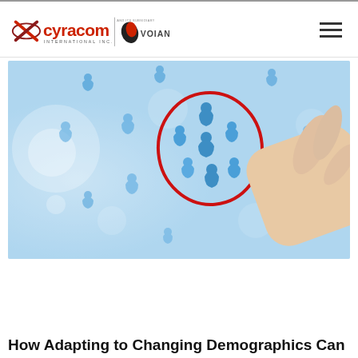CyraCom International Inc. and its subsidiary Voiance
[Figure (photo): A hand drawing a red circle around blue people icons on a light blue bokeh background, representing demographic targeting or customer segmentation.]
How Adapting to Changing Demographics Can